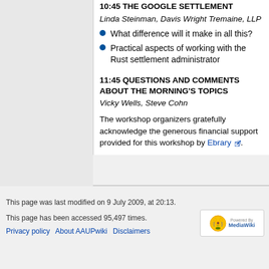10:45 THE GOOGLE SETTLEMENT
Linda Steinman, Davis Wright Tremaine, LLP
What difference will it make in all this?
Practical aspects of working with the Rust settlement administrator
11:45 QUESTIONS AND COMMENTS ABOUT THE MORNING'S TOPICS
Vicky Wells, Steve Cohn
The workshop organizers gratefully acknowledge the generous financial support provided for this workshop by Ebrary.
This page was last modified on 9 July 2009, at 20:13.
This page has been accessed 95,497 times.
Privacy policy   About AAUPwiki   Disclaimers